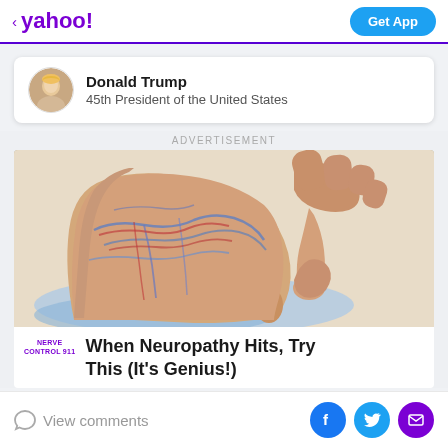< yahoo!   Get App
Donald Trump
45th President of the United States
ADVERTISEMENT
[Figure (photo): Close-up photo of a human foot with veins visible, being held/massaged by hands, on a blue surface background. Advertisement image for Nerve Control 911 neuropathy product.]
When Neuropathy Hits, Try This (It's Genius!)
View comments